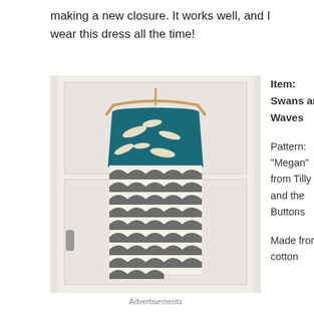making a new closure. It works well, and I wear this dress all the time!
[Figure (photo): A dress hanging on a door with a teal bodice featuring swan/bird print fabric and a black and white scallop/wave pattern skirt, on a wooden hanger.]
Advertisements
Item: Swans and Waves

Pattern: “Megan” from Tilly and the Buttons

Made from: cotton